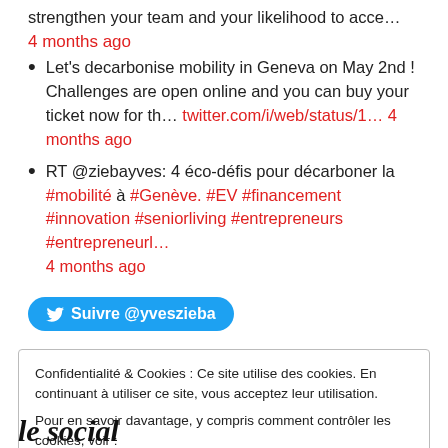strengthen your team and your likelihood to acce…
4 months ago
Let's decarbonise mobility in Geneva on May 2nd ! Challenges are open online and you can buy your ticket now for th… twitter.com/i/web/status/1… 4 months ago
RT @ziebayves: 4 éco-défis pour décarboner la #mobilité à #Genève. #EV #financement #innovation #seniorliving #entrepreneurs #entrepreneurl… 4 months ago
[Figure (other): Twitter follow button: Suivre @yveszieba]
Confidentialité & Cookies : Ce site utilise des cookies. En continuant à utiliser ce site, vous acceptez leur utilisation. Pour en savoir davantage, y compris comment contrôler les cookies, voir : Politique relative aux cookies
le social